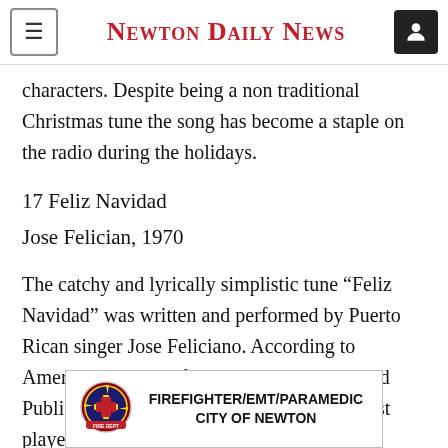Newton Daily News
characters. Despite being a non traditional Christmas tune the song has become a staple on the radio during the holidays.
17 Feliz Navidad
Jose Felician, 1970
The catchy and lyrically simplistic tune “Feliz Navidad” was written and performed by Puerto Rican singer Jose Feliciano. According to American Society of Composers, Authors and Publishers, the song is one of the Top 25 most played and recorded Christmas
[Figure (infographic): Advertisement banner for Firefighter/EMT/Paramedic City of Newton with a fire department logo badge on the left.]